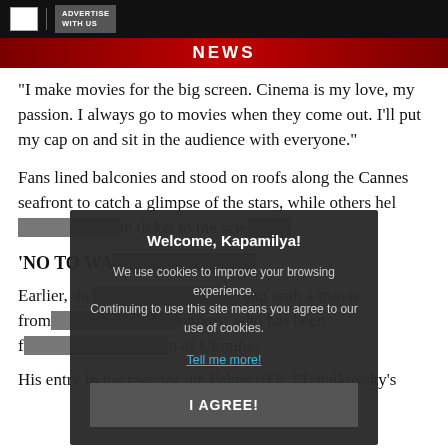ADVERTISE WITH US
NEWS
"I make movies for the big screen. Cinema is my love, my passion. I always go to movies when they come out. I'll put my cap on and sit in the audience with everyone."
Fans lined balconies and stood on roofs along the Cannes seafront to catch a glimpse of the stars, while others hel... te ticket to the scre...
'NO TO WA...
Earlier, the... going with a movie from... nnikov, who has been f... n of Ukraine.
His entry in the race for the Palme d'Or, "Tchaikovsky's
[Figure (screenshot): Cookie consent dialog overlay with title 'Welcome, Kapamilya!', body text about cookies, 'Tell me more!' link, and 'I AGREE!' button]